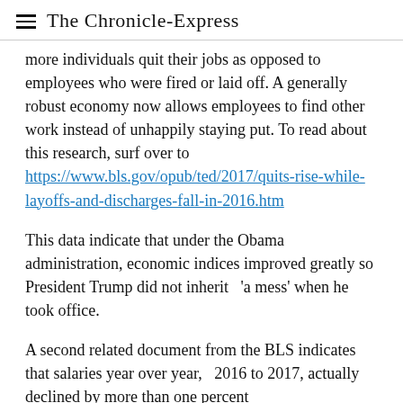The Chronicle-Express
more individuals quit their jobs as opposed to employees who were fired or laid off. A generally robust economy now allows employees to find other work instead of unhappily staying put. To read about this research, surf over to https://www.bls.gov/opub/ted/2017/quits-rise-while-layoffs-and-discharges-fall-in-2016.htm
This data indicate that under the Obama administration, economic indices improved greatly so President Trump did not inherit  'a mess' when he took office.
A second related document from the BLS indicates that salaries year over year,  2016 to 2017, actually declined by more than one percent